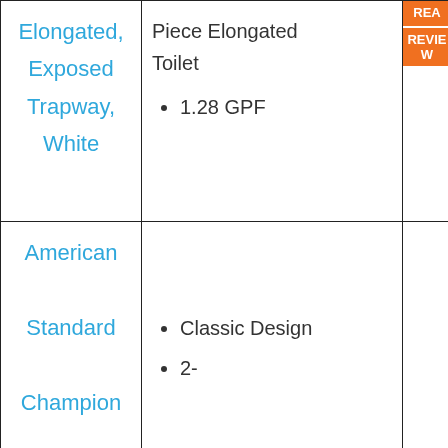| Product | Features | Action |
| --- | --- | --- |
| Elongated, Exposed Trapway, White | Piece Elongated Toilet
• 1.28 GPF | READ REVIEW |
| American Standard Champion Pro Right Height – 2 | • Classic Design
• 2- | READ |